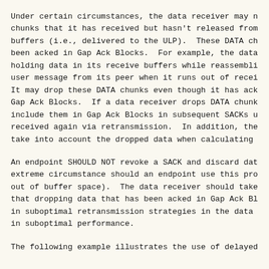Under certain circumstances, the data receiver may n chunks that it has received but hasn't released from buffers (i.e., delivered to the ULP).  These DATA ch been acked in Gap Ack Blocks.  For example, the data holding data in its receive buffers while reassembli user message from its peer when it runs out of recei It may drop these DATA chunks even though it has ack Gap Ack Blocks.  If a data receiver drops DATA chunk include them in Gap Ack Blocks in subsequent SACKs u received again via retransmission.  In addition, the take into account the dropped data when calculating
An endpoint SHOULD NOT revoke a SACK and discard dat extreme circumstance should an endpoint use this pro out of buffer space).  The data receiver should take that dropping data that has been acked in Gap Ack Bl in suboptimal retransmission strategies in the data in suboptimal performance.
The following example illustrates the use of delayed